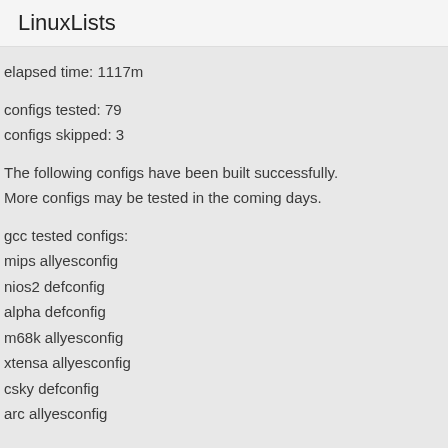LinuxLists
elapsed time: 1117m
configs tested: 79
configs skipped: 3
The following configs have been built successfully.
More configs may be tested in the coming days.
gcc tested configs:
mips allyesconfig
nios2 defconfig
alpha defconfig
m68k allyesconfig
xtensa allyesconfig
csky defconfig
arc allyesconfig